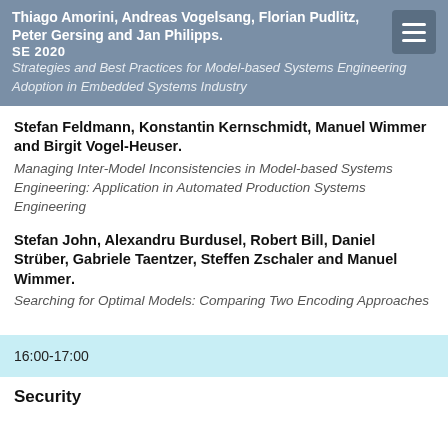Thiago Amorini, Andreas Vogelsang, Florian Pudlitz, Peter Gersing and Jan Philipps. SE 2020 Strategies and Best Practices for Model-based Systems Engineering Adoption in Embedded Systems Industry
Stefan Feldmann, Konstantin Kernschmidt, Manuel Wimmer and Birgit Vogel-Heuser. Managing Inter-Model Inconsistencies in Model-based Systems Engineering: Application in Automated Production Systems Engineering
Stefan John, Alexandru Burdusel, Robert Bill, Daniel Strüber, Gabriele Taentzer, Steffen Zschaler and Manuel Wimmer. Searching for Optimal Models: Comparing Two Encoding Approaches
16:00-17:00
Security